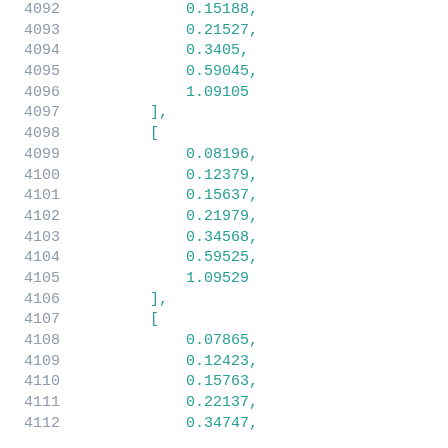4092    0.15188,
4093    0.21527,
4094    0.3405,
4095    0.59045,
4096    1.09105
4097    ],
4098    [
4099    0.08196,
4100    0.12379,
4101    0.15637,
4102    0.21979,
4103    0.34568,
4104    0.59525,
4105    1.09529
4106    ],
4107    [
4108    0.07865,
4109    0.12423,
4110    0.15763,
4111    0.22137,
4112    0.34747,